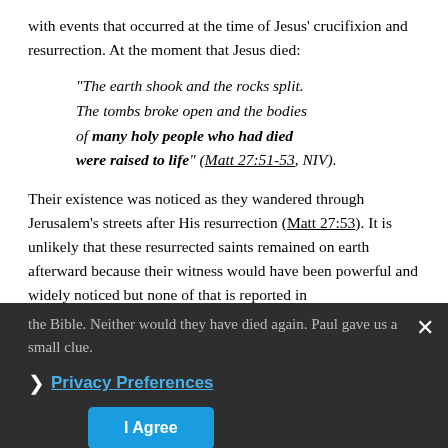with events that occurred at the time of Jesus' crucifixion and resurrection. At the moment that Jesus died:
“The earth shook and the rocks split. The tombs broke open and the bodies of many holy people who had died were raised to life” (Matt 27:51-53, NIV).
Their existence was noticed as they wandered through Jerusalem’s streets after His resurrection (Matt 27:53). It is unlikely that these resurrected saints remained on earth afterward because their witness would have been powerful and widely noticed but none of that is reported in the Bible. Neither would they have died again. Paul gave us a small clue.
“When He ascended… He led captive a host of captives” (Eph 4:8).